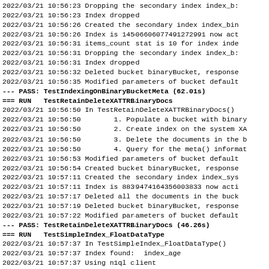2022/03/21 10:56:23 Dropping the secondary index index_b:
2022/03/21 10:56:23 Index dropped
2022/03/21 10:56:26 Created the secondary index index_bin
2022/03/21 10:56:26 Index is 14506606077491272991 now act
2022/03/21 10:56:31 items_count stat is 10 for index inde
2022/03/21 10:56:31 Dropping the secondary index index_b:
2022/03/21 10:56:31 Index dropped
2022/03/21 10:56:32 Deleted bucket binaryBucket, response
2022/03/21 10:56:35 Modified parameters of bucket default
--- PASS: TestIndexingOnBinaryBucketMeta (62.01s)
=== RUN   TestRetainDeleteXATTRBinaryDocs
2022/03/21 10:56:50 In TestRetainDeleteXATTRBinaryDocs()
2022/03/21 10:56:50        1. Populate a bucket with binary
2022/03/21 10:56:50        2. Create index on the system XA
2022/03/21 10:56:50        3. Delete the documents in the b
2022/03/21 10:56:50        4. Query for the meta() informat
2022/03/21 10:56:53 Modified parameters of bucket default
2022/03/21 10:56:54 Created bucket binaryBucket, response
2022/03/21 10:57:11 Created the secondary index index_sys
2022/03/21 10:57:11 Index is 8839474164356003833 now acti
2022/03/21 10:57:17 Deleted all the documents in the buck
2022/03/21 10:57:19 Deleted bucket binaryBucket, response
2022/03/21 10:57:22 Modified parameters of bucket default
--- PASS: TestRetainDeleteXATTRBinaryDocs (46.26s)
=== RUN   TestSimpleIndex_FloatDataType
2022/03/21 10:57:37 In TestSimpleIndex_FloatDataType()
2022/03/21 10:57:37 Index found:  index_age
2022/03/21 10:57:37 Using n1ql client
2022/03/21 10:57:37 Expected and Actual scan responses an
--- PASS: TestSimpleIndex_FloatDataType (0.02s)